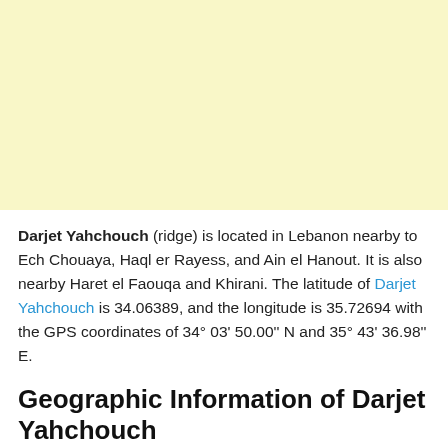[Figure (other): Light yellow advertisement banner placeholder at the top of the page]
Darjet Yahchouch (ridge) is located in Lebanon nearby to Ech Chouaya, Haql er Rayess, and Ain el Hanout. It is also nearby Haret el Faouqa and Khirani. The latitude of Darjet Yahchouch is 34.06389, and the longitude is 35.72694 with the GPS coordinates of 34° 03' 50.00'' N and 35° 43' 36.98'' E.
Geographic Information of Darjet Yahchouch